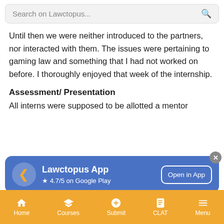Search on Lawctopus...
Until then we were neither introduced to the partners, nor interacted with them. The issues were pertaining to gaming law and something that I had not worked on before. I thoroughly enjoyed that week of the internship.
Assessment/ Presentation
All interns were supposed to be allotted a mentor
[Figure (screenshot): Lawctopus App promotional banner with back arrow icon, app name 'Lawctopus App', rating '4.7/5 on Google Play', and 'Open in App' button. Close (x) button in top right corner.]
Home   Courses   Submit   CLAT   Menu